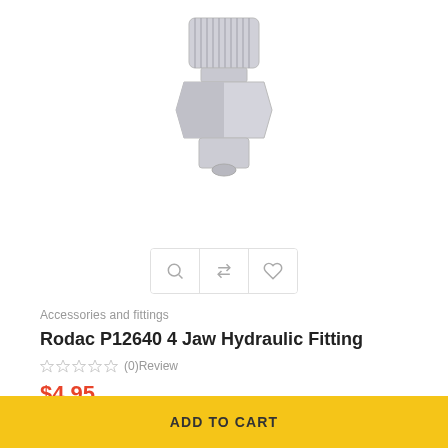[Figure (photo): Product photo of Rodac P12640 4 Jaw Hydraulic Fitting — a silver metallic cylindrical grease fitting shown from side and end views]
Accessories and fittings
Rodac P12640 4 Jaw Hydraulic Fitting
★★★★★ (0)Review
$4.95
ADD TO CART